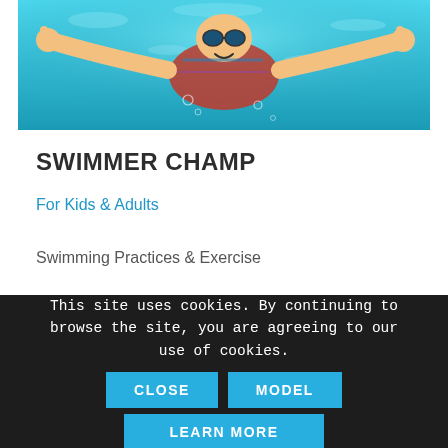[Figure (photo): Child swimming underwater in a pool, seen from below, giving thumbs up, wearing colorful swimwear. Bright blue-cyan water background.]
SWIMMER CHAMP
For Kids & Adults
Swimming Practices & Exercise
This site uses cookies. By continuing to browse the site, you are agreeing to our use of cookies.
CLOSE
MODEL
LEARN MORE